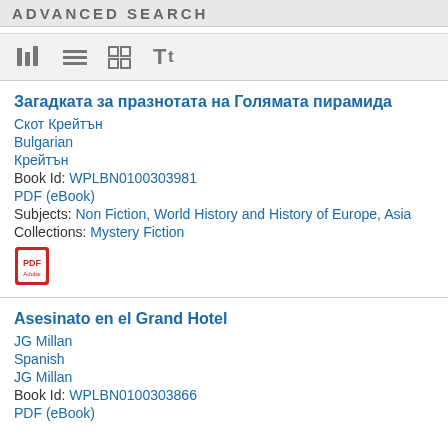ADVANCED SEARCH
[Figure (other): Toolbar with icons: bar chart, list, grid, and Tt text size icons]
Загадката за празнотата на Голямата пирамида
Скот Крейтън
Bulgarian
Крейтън
Book Id: WPLBN0100303981
PDF (eBook)
Subjects: Non Fiction, World History and History of Europe, Asia
Collections: Mystery Fiction
[Figure (other): PDF icon (Adobe PDF red and white icon)]
Asesinato en el Grand Hotel
JG Millan
Spanish
JG Millan
Book Id: WPLBN0100303866
PDF (eBook)